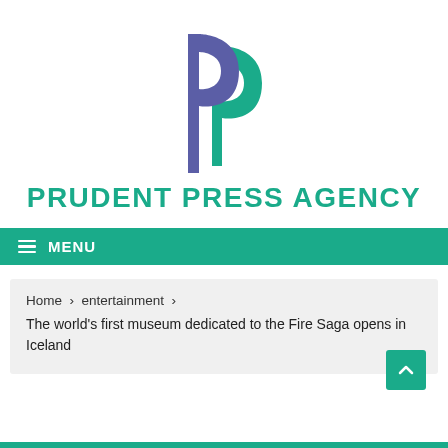[Figure (logo): Prudent Press Agency logo: overlapping blue-purple and teal letter P shapes]
PRUDENT PRESS AGENCY
≡ MENU
Home › entertainment › The world's first museum dedicated to the Fire Saga opens in Iceland